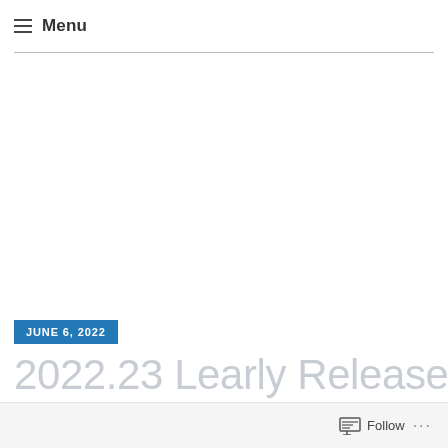≡ Menu
JUNE 6, 2022
2022.23 Learly Release
Follow ...